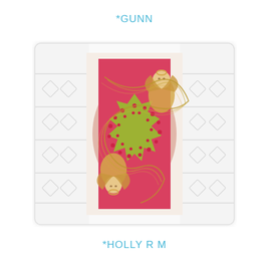*GUNN
[Figure (photo): A decorative holiday craft item: a handmade ornament or card featuring two golden angel figures on either side of a yellow-green starburst/flower shape with a wreath of red berries pattern, set against a red rectangular card/background, surrounded by a lacy white fabric border with an oval peach/pink shape.]
*HOLLY R M